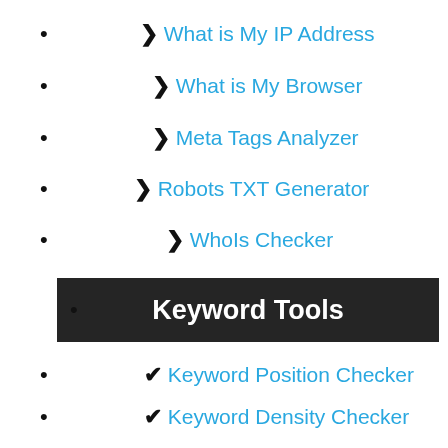➤ What is My IP Address
➤ What is My Browser
➤ Meta Tags Analyzer
➤ Robots TXT Generator
➤ WhoIs Checker
Keyword Tools
✔ Keyword Position Checker
✔ Keyword Density Checker
✔ Keyword Suggestion Tool